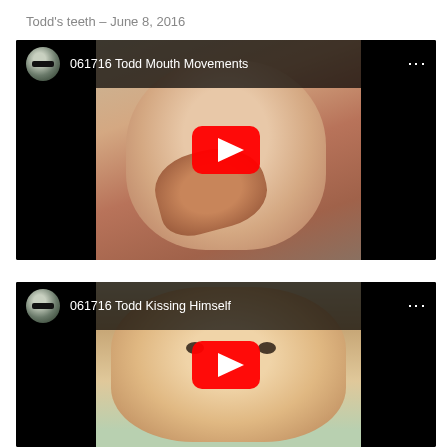Todd's teeth – June 8, 2016
[Figure (screenshot): YouTube video thumbnail for '061716 Todd Mouth Movements' showing a baby with hand near mouth, with YouTube play button overlay]
[Figure (screenshot): YouTube video thumbnail for '061716 Todd Kissing Himself' showing a close-up of a baby's face, with YouTube play button overlay]